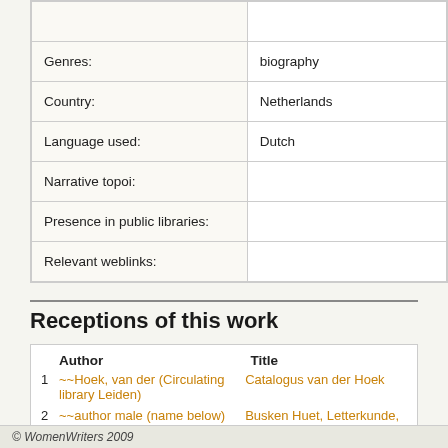| Field | Value |
| --- | --- |
| Genres: | biography |
| Country: | Netherlands |
| Language used: | Dutch |
| Narrative topoi: |  |
| Presence in public libraries: |  |
| Relevant weblinks: |  |
Receptions of this work
| Author | Title |
| --- | --- |
| 1  ~~Hoek, van der (Circulating library Leiden) | Catalogus van der Hoek |
| 2  ~~author male (name below) | Busken Huet, Letterkunde, kronijk kritiek |
© WomenWriters 2009